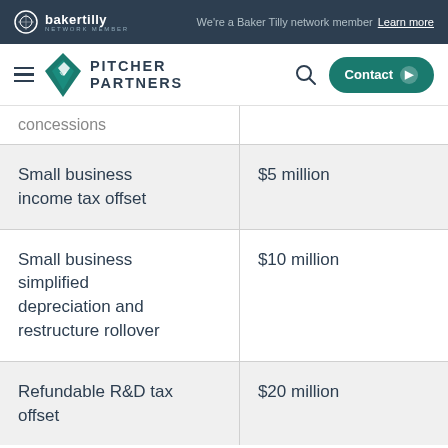Baker Tilly network member | We're a Baker Tilly network member Learn more
Pitcher Partners | Contact
|  |  |
| --- | --- |
| concessions |  |
| Small business income tax offset | $5 million |
| Small business simplified depreciation and restructure rollover | $10 million |
| Refundable R&D tax offset | $20 million |